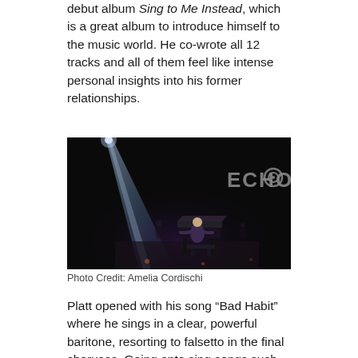debut album Sing to Me Instead, which is a great album to introduce himself to the music world. He co-wrote all 12 tracks and all of them feel like intense personal insights into his former relationships.
[Figure (photo): A performer sits at a piano on a darkened stage, lit by a dramatic spotlight from above-left. The ECHO logo appears in large grey letters in the upper right of the image.]
Photo Credit: Amelia Cordischi
Platt opened with his song “Bad Habit” where he sings in a clear, powerful baritone, resorting to falsetto in the final choruses. Going onto sing songs such as “Temporary Love”